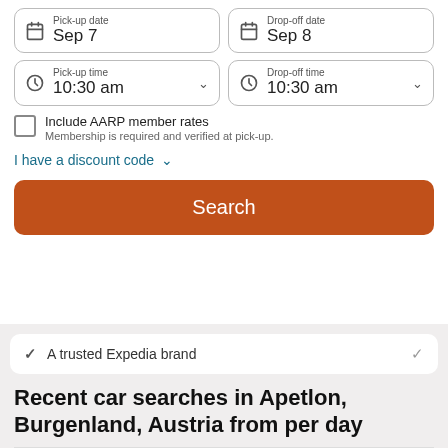[Figure (screenshot): Pick-up date field showing Sep 7 with calendar icon]
[Figure (screenshot): Drop-off date field showing Sep 8 with calendar icon]
[Figure (screenshot): Pick-up time dropdown showing 10:30 am]
[Figure (screenshot): Drop-off time dropdown showing 10:30 am]
Include AARP member rates
Membership is required and verified at pick-up.
I have a discount code
Search
A trusted Expedia brand
Recent car searches in Apetlon, Burgenland, Austria from per day